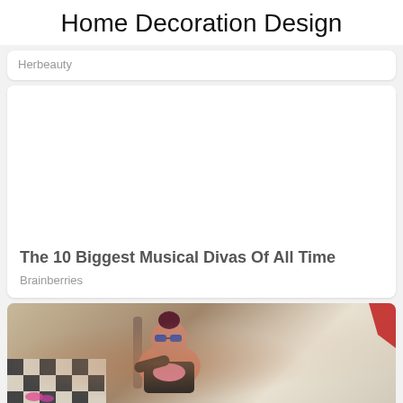Home Decoration Design
Herbeauty
[Figure (other): White blank card area with no visible image content]
The 10 Biggest Musical Divas Of All Time
Brainberries
[Figure (photo): Young woman with sunglasses and dark hair bun sitting in a chair, wearing a black jacket over pink top, eating pizza on a checkered floor. A pizza box is visible in the foreground.]